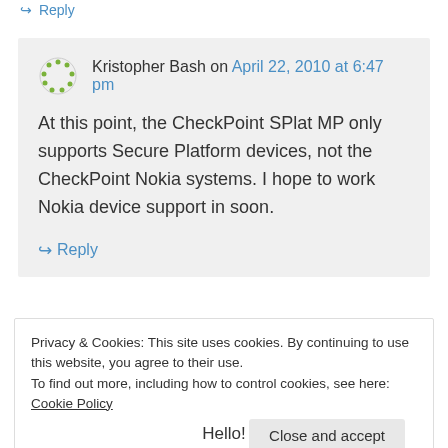↪ Reply
Kristopher Bash on April 22, 2010 at 6:47 pm

At this point, the CheckPoint SPlat MP only supports Secure Platform devices, not the CheckPoint Nokia systems. I hope to work Nokia device support in soon.
↪ Reply
Privacy & Cookies: This site uses cookies. By continuing to use this website, you agree to their use.
To find out more, including how to control cookies, see here: Cookie Policy
Close and accept
Hello!